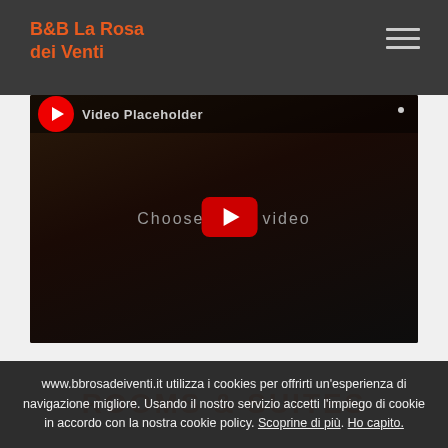B&B La Rosa dei Venti
[Figure (screenshot): YouTube video placeholder embed showing a dark background with 'Choose video' text and a red play button in the center, with a YouTube-style top bar showing a red circular icon and 'Video Placeholder' title text]
ROOMS & SUITES
www.bbrosadeiventi.it utilizza i cookies per offrirti un'esperienza di navigazione migliore. Usando il nostro servizio accetti l'impiego di cookie in accordo con la nostra cookie policy. Scoprine di più. Ho capito.